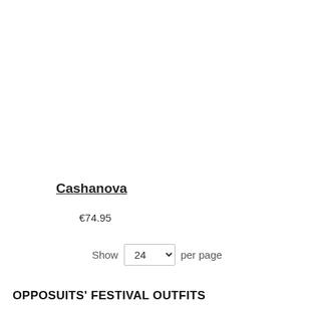Cashanova
€74.95
Show 24 per page
OPPOSUITS' FESTIVAL OUTFITS